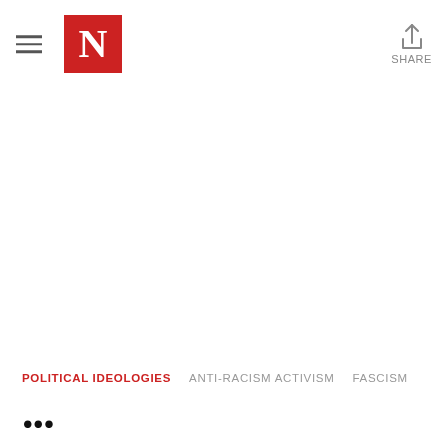The Nation — Navigation header with hamburger menu, N logo, and Share button
POLITICAL IDEOLOGIES   ANTI-RACISM ACTIVISM   FASCISM
...